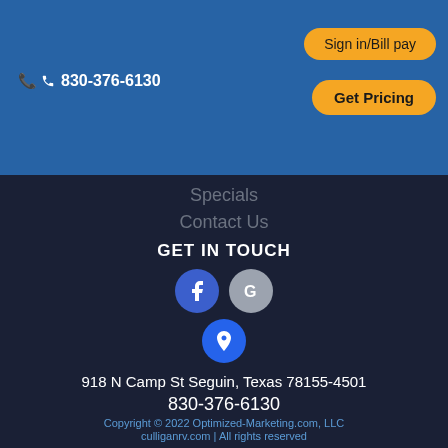830-376-6130
Sign in/Bill pay
Get Pricing
Specials
Contact Us
GET IN TOUCH
[Figure (illustration): Social media icons: Facebook circle (blue), Google circle (gray), Location pin circle (blue)]
918 N Camp St Seguin, Texas 78155-4501
[Figure (illustration): Phone icon in blue circle]
830-376-6130
Copyright © 2022 Optimized-Marketing.com, LLC culliganrv.com | All rights reserved